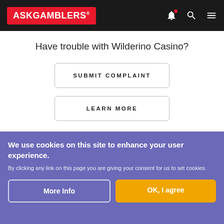ASKGAMBLERS
Have trouble with Wilderino Casino?
SUBMIT COMPLAINT
LEARN MORE
CASINOS
We use cookies on this site to enhance your user experience. By clicking any link on this page you are giving your consent for us to set cookies.
More Info
OK, I agree